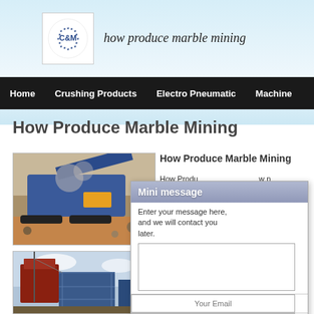how produce marble mining
Home
Crushing Products
Electro Pneumatic
Machine
How Produce Marble Mining
[Figure (photo): Blue mobile crushing machine processing stones at a quarry site]
[Figure (photo): Large industrial mining/crushing equipment structure against cloudy sky]
How Produce Marble Mining
How Produce Marble Mining ... mining pro... lo... outcrop of... su... official gra...
How Does
Apr 24, 20... quarry sta... with a bottom wall. The... with diamond cables, drills, and toro... the separated wall can then be...
[Figure (other): Mini message modal dialog with text area, Your Email and Your Phone input fields]